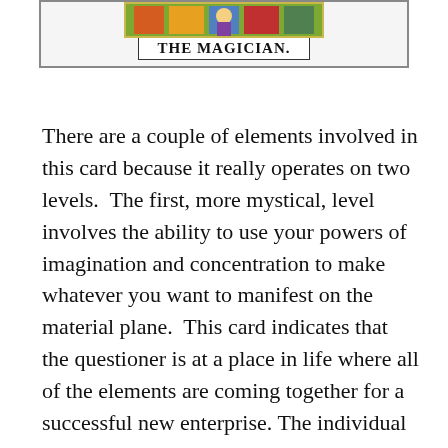[Figure (illustration): Tarot card image of The Magician with colorful illustration at top, and label 'THE MAGICIAN.' in a bordered box at the bottom of the card.]
There are a couple of elements involved in this card because it really operates on two levels. The first, more mystical, level involves the ability to use your powers of imagination and concentration to make whatever you want to manifest on the material plane. This card indicates that the questioner is at a place in life where all of the elements are coming together for a successful new enterprise. The individual involved literally has the ability to visualize what he or she wants to happen and bring it into being. It's a very strong card and shows